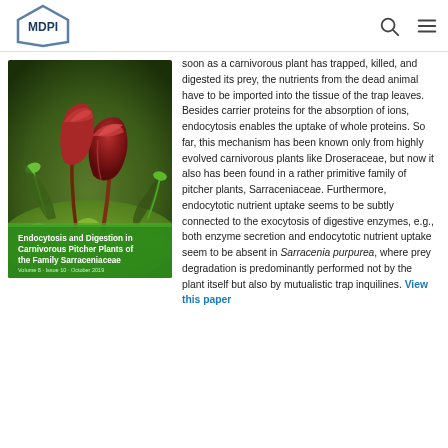[Figure (logo): MDPI logo in top navigation bar]
[Figure (photo): Journal cover for 'Endocytosis and Digestion in Carnivorous Pitcher Plants of the Family Sarraceniaceae' — MDPI Plants journal cover showing carnivorous pitcher plants on a mossy background]
soon as a carnivorous plant has trapped, killed, and digested its prey, the nutrients from the dead animal have to be imported into the tissue of the trap leaves. Besides carrier proteins for the absorption of ions, endocytosis enables the uptake of whole proteins. So far, this mechanism has been known only from highly evolved carnivorous plants like Droseraceae, but now it also has been found in a rather primitive family of pitcher plants, Sarraceniaceae. Furthermore, endocytotic nutrient uptake seems to be subtly connected to the exocytosis of digestive enzymes, e.g., both enzyme secretion and endocytotic nutrient uptake seem to be absent in Sarracenia purpurea, where prey degradation is predominantly performed not by the plant itself but also by mutualistic trap inquilines. View this paper